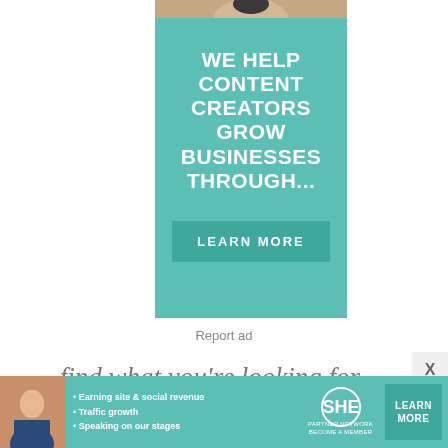[Figure (illustration): Partial photo of a person at the top of the advertisement, cropped.]
WE HELP CONTENT CREATORS GROW BUSINESSES THROUGH...
LEARN MORE
Report ad
find what you're looking for
[Figure (infographic): SHE Partner Network banner ad with woman photo, bullet points: Earning site & social revenue, Traffic growth, Speaking on our stages; SHE Partner Network logo and LEARN MORE button.]